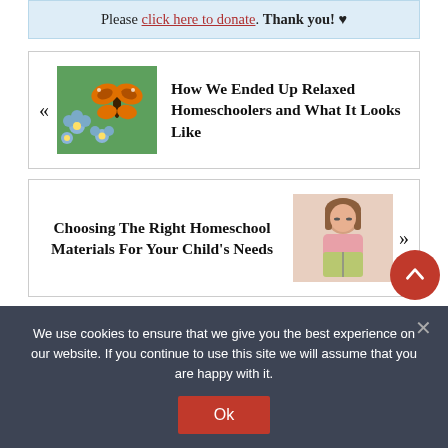Please click here to donate. Thank you! ♥
[Figure (photo): Butterfly on blue flowers (forget-me-nots)]
How We Ended Up Relaxed Homeschoolers and What It Looks Like
[Figure (photo): Girl reading a book]
Choosing The Right Homeschool Materials For Your Child's Needs
We use cookies to ensure that we give you the best experience on our website. If you continue to use this site we will assume that you are happy with it.
Ok